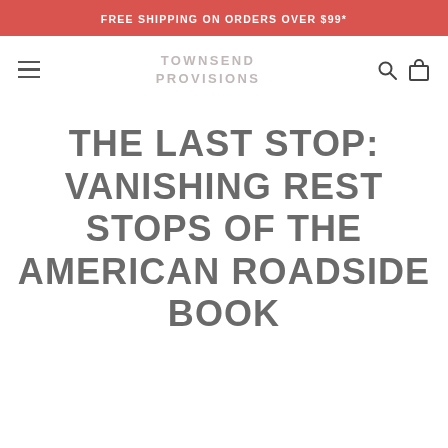FREE SHIPPING ON ORDERS OVER $99*
TOWNSEND PROVISIONS
THE LAST STOP: VANISHING REST STOPS OF THE AMERICAN ROADSIDE BOOK